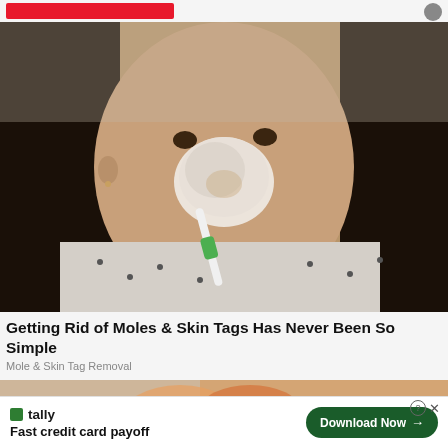[Figure (photo): Woman applying white cream or mask on her nose using a toothbrush, looking at the camera. Photo is a video thumbnail for a skin treatment article.]
Getting Rid of Moles & Skin Tags Has Never Been So Simple
Mole & Skin Tag Removal
[Figure (photo): Partial view of a second article thumbnail showing hands, colored in orange/peach tones.]
Fast credit card payoff
Download Now →